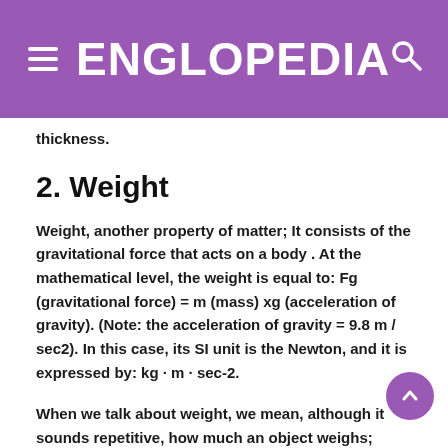ENGLOPEDIA
thickness.
2. Weight
Weight, another property of matter; It consists of the gravitational force that acts on a body . At the mathematical level, the weight is equal to: Fg (gravitational force) = m (mass) xg (acceleration of gravity). (Note: the acceleration of gravity = 9.8 m / sec2). In this case, its SI unit is the Newton, and it is expressed by: kg · m · sec-2.
When we talk about weight, we mean, although it sounds repetitive, how much an object weighs; heavy objects (for